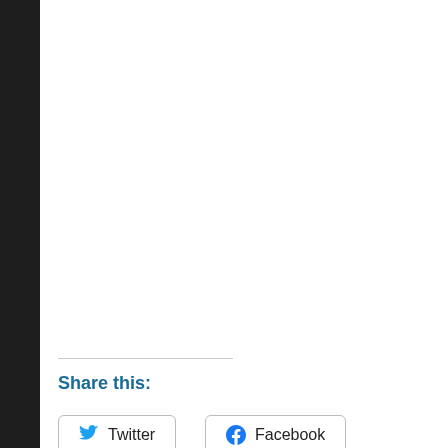[Figure (screenshot): Partial screenshot of a red Pocket app advertisement banner with a smartphone displaying the app interface. Top-right portion of the page shows a red background with a phone and Pocket logo/text.]
Share this:
[Figure (other): Twitter share button with Twitter bird icon]
[Figure (other): Facebook share button with Facebook 'f' icon]
Loading...
Privacy & Cookies: This site uses cookies. By continuing to use this website, you agree to their use.
To find out more, including how to control cookies, see here:
Cookie Policy